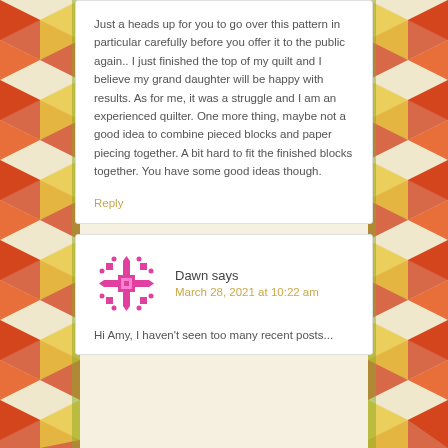Just a heads up for you to go over this pattern in particular carefully before you offer it to the public again.. I just finished the top of my quilt and I believe my grand daughter will be happy with results. As for me, it was a struggle and I am an experienced quilter. One more thing, maybe not a good idea to combine pieced blocks and paper piecing together. A bit hard to fit the finished blocks together. You have some good ideas though.
Reply
Dawn says
March 28, 2021 at 10:22 am
Hi Amy, I haven't seen too many recent posts...